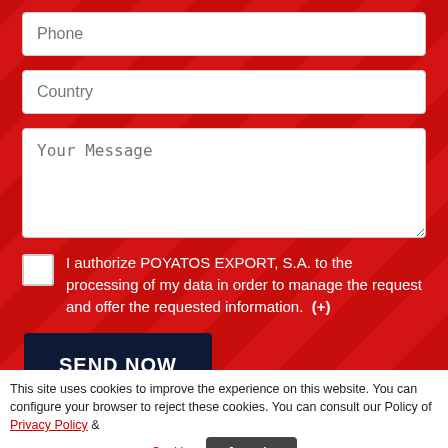Phone
Country
Your Message
I authorize POYATOS EXPORT, S.A. to the processing of my data in order to manage the request and offer the requested information.  (+)
SEND NOW
This site uses cookies to improve the experience on this website. You can configure your browser to reject these cookies. You can consult our Policy of Privacy Policy & Cookies.
Acepto